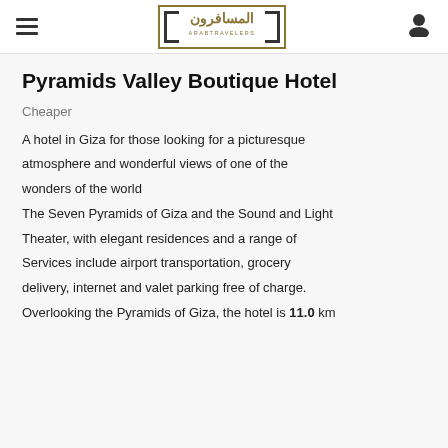ArabTravelers logo with hamburger menu and user icon
Pyramids Valley Boutique Hotel
Cheaper
A hotel in Giza for those looking for a picturesque atmosphere and wonderful views of one of the wonders of the world
The Seven Pyramids of Giza and the Sound and Light Theater, with elegant residences and a range of Services include airport transportation, grocery delivery, internet and valet parking free of charge.
Overlooking the Pyramids of Giza, the hotel is 11.0 km